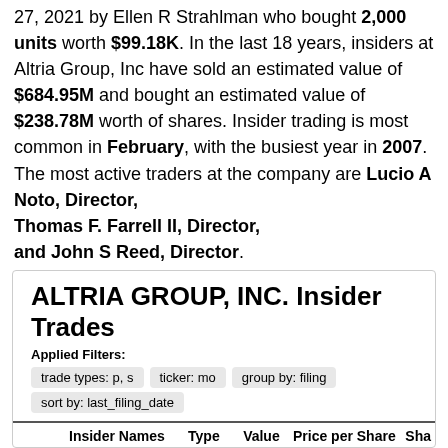27, 2021 by Ellen R Strahlman who bought 2,000 units worth $99.18K. In the last 18 years, insiders at Altria Group, Inc have sold an estimated value of $684.95M and bought an estimated value of $238.78M worth of shares. Insider trading is most common in February, with the busiest year in 2007. The most active traders at the company are Lucio A Noto, Director, Thomas F. Farrell II, Director, and John S Reed, Director.
ALTRIA GROUP, INC. Insider Trades
Applied Filters:
trade types: p, s | ticker: mo | group by: filing | sort by: last_filing_date
|  |  | Insider Names | Type | Value | Price per Share | Sha |
| --- | --- | --- | --- | --- | --- | --- |
| + | 1 | Ellen R Strahlman | BUY | $99.18K | $49.59 |  |